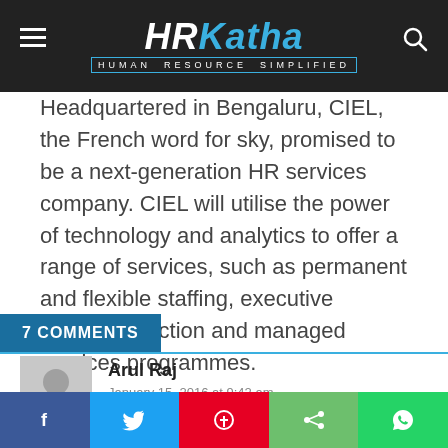HRKatha - HUMAN RESOURCE SIMPLIFIED
Headquartered in Bengaluru, CIEL, the French word for sky, promised to be a next-generation HR services company. CIEL will utilise the power of technology and analytics to offer a range of services, such as permanent and flexible staffing, executive search, selection and managed services programmes.
7 COMMENTS
Arul Raj
January 15, 2016 at 9:42 am